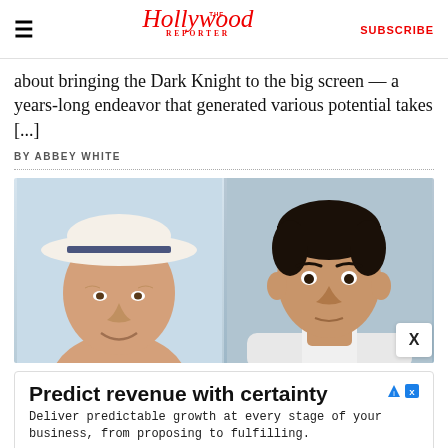The Hollywood Reporter | SUBSCRIBE
...about bringing the Dark Knight to the big screen — a years-long endeavor that generated various potential takes [...]
BY ABBEY WHITE
[Figure (photo): Two-panel photo: left panel shows an older man wearing a white panama hat smiling; right panel shows a younger man with dark hair looking at the camera.]
Predict revenue with certainty
Deliver predictable growth at every stage of your business, from proposing to fulfilling.
Conga  Open